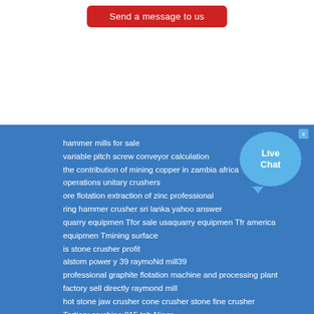[Figure (other): Red button labeled 'Send a message to us']
hammer mills for sale
variable pitch screw conveyor calculation
the contribution of mining copper in zambia africa
operations unitary crushers
ore flotation extraction of zinc professional
ring hammer crusher sri lanka yahoo answer
quarry equipmen Tfor sale usaquarry equipmen Tfr america
equipmen Tmining surface
is stone crusher profit
alstom power y 39 raymoNd mill39
professional graphite flotation machine and processing plant
factory sell directly raymond mill
hot stone jaw crusher cone crusher stone fine crusher
Tertiary crushing 815 tph Niger
high efficiency fine impact crusher
stone crushing machines germany
dolomite crusher plan Tprizes for sale